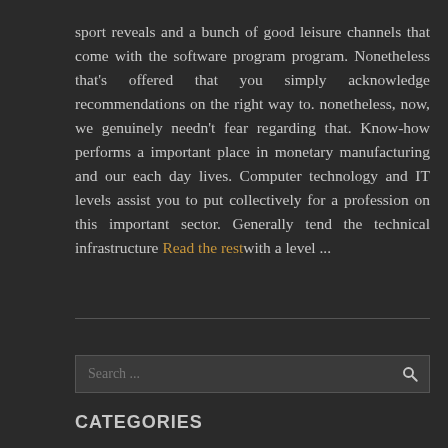sport reveals and a bunch of good leisure channels that come with the software program program. Nonetheless that's offered that you simply acknowledge recommendations on the right way to. nonetheless, now, we genuinely needn't fear regarding that. Know-how performs a important place in monetary manufacturing and our each day lives. Computer technology and IT levels assist you to put collectively for a profession on this important sector. Generally tend the technical infrastructure Read the rest with a level ...
CATEGORIES